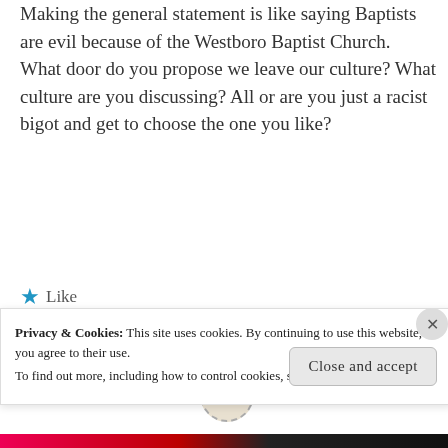Making the general statement is like saying Baptists are evil because of the Westboro Baptist Church. What door do you propose we leave our culture? What culture are you discussing? All or are you just a racist bigot and get to choose the one you like?
★ Like
jessica
Privacy & Cookies: This site uses cookies. By continuing to use this website, you agree to their use. To find out more, including how to control cookies, see here: Cookie Policy
Close and accept